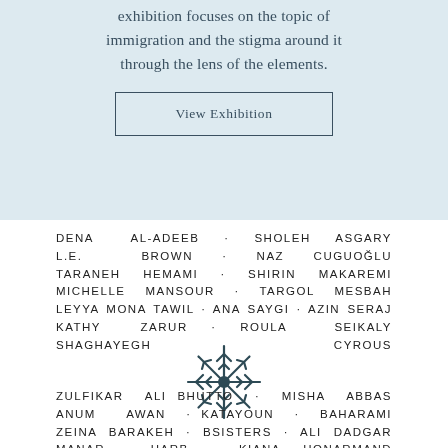exhibition focuses on the topic of immigration and the stigma around it through the lens of the elements.
View Exhibition
DENA AL-ADEEB · SHOLEH ASGARY L.E. BROWN · NAZ CUGUOĞLU TARANEH HEMAMI · SHIRIN MAKAREMI MICHELLE MANSOUR · TARGOL MESBAH LEYYA MONA TAWIL · ANA SAYGI · AZIN SERAJ KATHY ZARUR · ROULA SEIKALY SHAGHAYEGH CYROUS
[Figure (illustration): A decorative snowflake or starburst symbol in dark teal/charcoal color]
ZULFIKAR ALI BHUTTO · MISHA ABBAS ANUM AWAN · KATAYOUN · BAHARAMI ZEINA BARAKEH · BSISTERS · ALI DADGAR MANAR HARB · KIANA HONARMAND